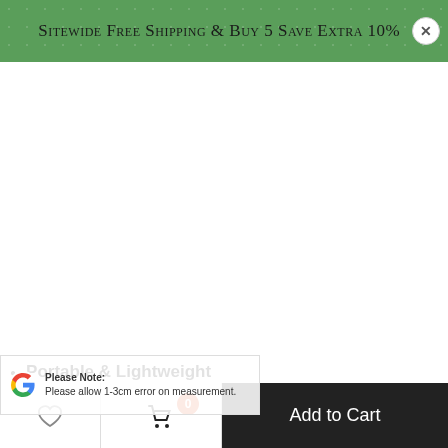Sitewide Free Shipping & Buy 5 Save Extra 10% O(x)F!
[Figure (other): White blank product image area]
Portable & Lightweight
Easy to carry when you are traveling or camping! Able to open all kinds of round/ oval cans. Compact and smart design allows can opener a perfect fit for your measurement. Please allow 1-3cm error on measurement.
Please Note:
Big size allows can opener perfect fit for your kitchen drawers and cabinets.
Add to Cart